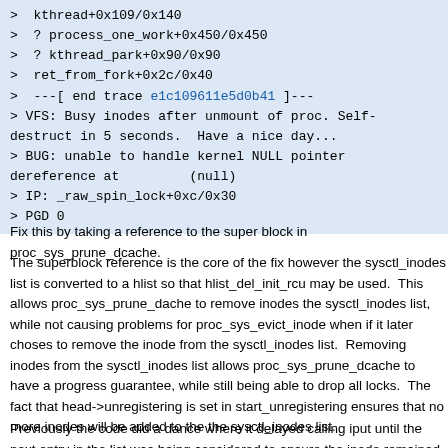> kthread+0x109/0x140
> ? process_one_work+0x450/0x450
> ? kthread_park+0x90/0x90
> ret_from_fork+0x2c/0x40
> ---[ end trace e1c109611e5d0b41 ]---
> VFS: Busy inodes after unmount of proc. Self-destruct in 5 seconds.  Have a nice day...
> BUG: unable to handle kernel NULL pointer dereference at        (null)
> IP: _raw_spin_lock+0xc/0x30
> PGD 0
Fix this by taking a reference to the super block in proc_sys_prune_dcache.
The superblock reference is the core of the fix however the sysctl_inodes list is converted to a hlist so that hlist_del_init_rcu may be used.  This allows proc_sys_prune_dache to remove inodes the sysctl_inodes list, while not causing problems for proc_sys_evict_inode when if it later choses to remove the inode from the sysctl_inodes list.  Removing inodes from the sysctl_inodes list allows proc_sys_prune_dcache to have a progress guarantee, while still being able to drop all locks.  The fact that head->unregistering is set in start_unregistering ensures that no more inodes will be added to the the sysctl_inodes list.
Previously the code did a dance where it delayed calling iput until the next entry in the list was being considered to ensure the inode remained...